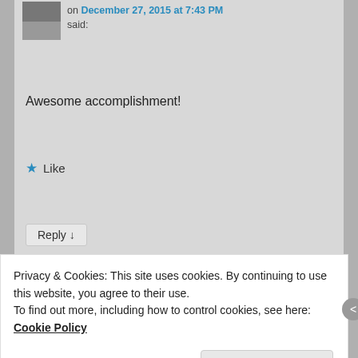on December 27, 2015 at 7:43 PM said:
Awesome accomplishment!
★ Like
Reply ↓
NP
on March 11, 2017 at 8:21 AM said:
Amazing results, keep going!! God bless
Privacy & Cookies: This site uses cookies. By continuing to use this website, you agree to their use.
To find out more, including how to control cookies, see here: Cookie Policy
Close and accept